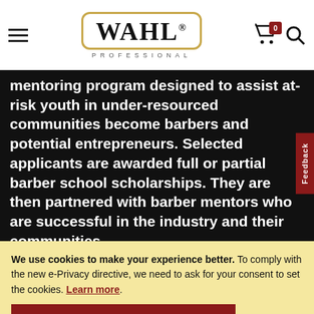[Figure (logo): Wahl Professional logo with golden border and PROFESSIONAL text below]
mentoring program designed to assist at-risk youth in under-resourced communities become barbers and potential entrepreneurs. Selected applicants are awarded full or partial barber school scholarships. They are then partnered with barber mentors who are successful in the industry and their communities.
THE BEST WAY TO GIVE
We use cookies to make your experience better. To comply with the new e-Privacy directive, we need to ask for your consent to set the cookies. Learn more.
ALLOW COOKIES